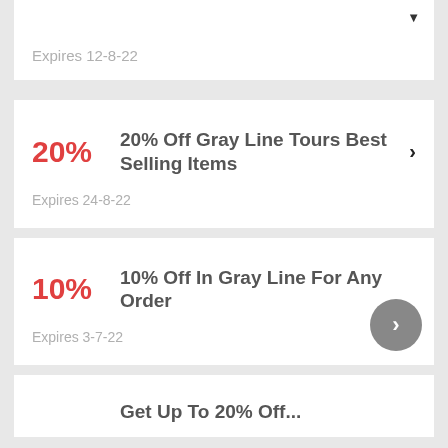Expires 12-8-22
20% Off Gray Line Tours Best Selling Items — Expires 24-8-22
10% Off In Gray Line For Any Order — Expires 3-7-22